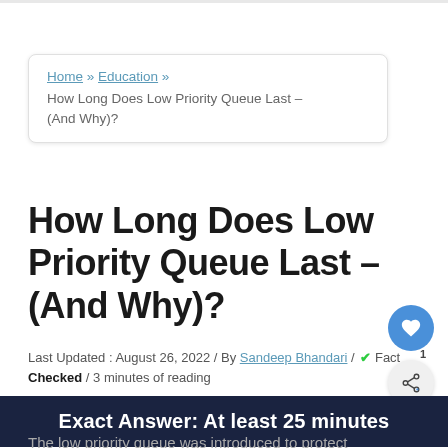Home » Education » How Long Does Low Priority Queue Last – (And Why)?
How Long Does Low Priority Queue Last – (And Why)?
Last Updated : August 26, 2022 / By Sandeep Bhandari / ✔ Fact Checked / 3 minutes of reading
Exact Answer: At least 25 minutes
The low priority queue was introduced to protect